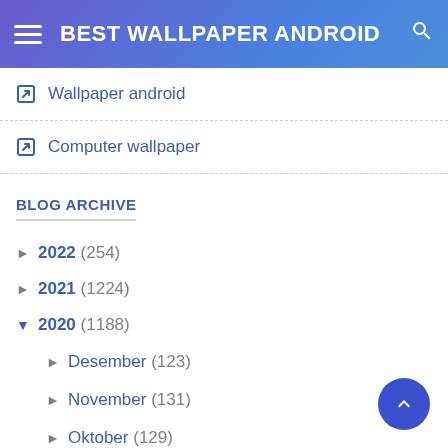BEST WALLPAPER ANDROID
Wallpaper android
Computer wallpaper
BLOG ARCHIVE
► 2022 (254)
► 2021 (1224)
▼ 2020 (1188)
► Desember (123)
► November (131)
► Oktober (129)
▼ September (134)
Hd Wallpaper Famous Places
Lexus Car Hd Wallpaper
Hello Kitty Christmas Desktop Wallpaper